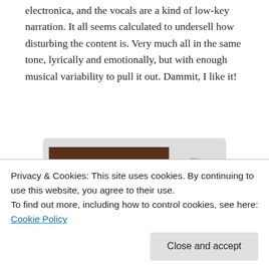electronica, and the vocals are a kind of low-key narration. It all seems calculated to undersell how disturbing the content is. Very much all in the same tone, lyrically and emotionally, but with enough musical variability to pull it out. Dammit, I like it!
[Figure (photo): Album cover image showing two pig snouts/faces and a CD disc partially visible on the right, on a light gray background.]
Armand Hammer/The Alchemist, Haram – Trust me, you probably don't want a more hi-res version of that picture. that, a rich musical mix and interesting use of samples.
Privacy & Cookies: This site uses cookies. By continuing to use this website, you agree to their use.
To find out more, including how to control cookies, see here: Cookie Policy